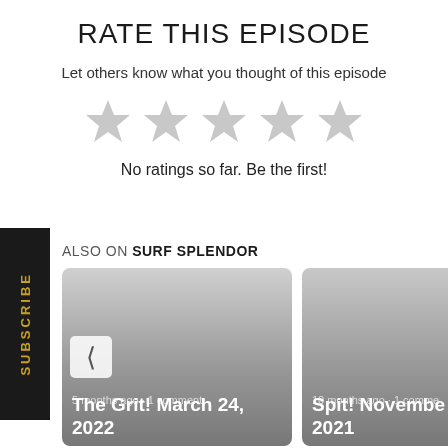RATE THIS EPISODE
Let others know what you thought of this episode
[Figure (other): Five empty grey star rating icons]
No ratings so far. Be the first!
SUBSCRIBE
ALSO ON SURF SPLENDOR
[Figure (other): Card for 'The Grit! March 24, 2022' - 5 months ago · 1 comment, with left chevron navigation arrow]
[Figure (other): Card for 'Spit! November 9, 2021' - 10 months ago · 1 comment, with right chevron navigation arrow]